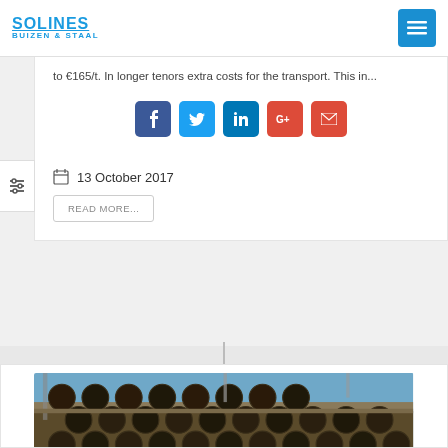SOLINES BUIZEN & STAAL
to €165/t. In longer tenors extra costs for the transport. This in...
[Figure (infographic): Social share buttons: Facebook, Twitter, LinkedIn, Google+, Email]
13 October 2017
READ MORE...
[Figure (photo): Large steel pipes loaded on a flatbed truck/train car, photographed from the side showing circular pipe ends stacked together, outdoor industrial setting with blue sky]